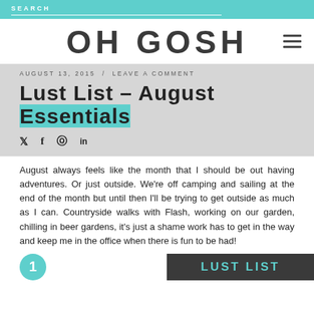SEARCH
Oh Gosh
AUGUST 13, 2015 / LEAVE A COMMENT
Lust List – August Essentials
Social icons: twitter, facebook, pinterest, linkedin
August always feels like the month that I should be out having adventures. Or just outside. We're off camping and sailing at the end of the month but until then I'll be trying to get outside as much as I can. Countryside walks with Flash, working on our garden, chilling in beer gardens, it's just a shame work has to get in the way and keep me in the office when there is fun to be had!
[Figure (other): Partial view of a teal circle with number 1, and a dark banner with 'LUST LIST' text in teal]